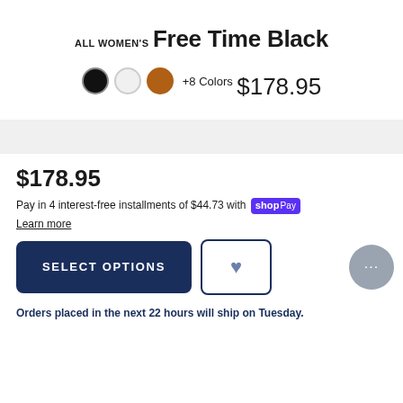ALL WOMEN'S
Free Time Black
[Figure (other): Three color swatches (black, white, brown) with '+8 Colors' label]
$178.95
$178.95
Pay in 4 interest-free installments of $44.73 with shop Pay
Learn more
SELECT OPTIONS
Orders placed in the next 22 hours will ship on Tuesday.